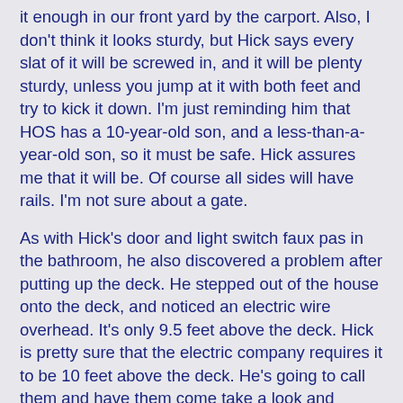it enough in our front yard by the carport. Also, I don't think it looks sturdy, but Hick says every slat of it will be screwed in, and it will be plenty sturdy, unless you jump at it with both feet and try to kick it down. I'm just reminding him that HOS has a 10-year-old son, and a less-than-a-year-old son, so it must be safe. Hick assures me that it will be. Of course all sides will have rails. I'm not sure about a gate.
As with Hick's door and light switch faux pas in the bathroom, he also discovered a problem after putting up the deck. He stepped out of the house onto the deck, and noticed an electric wire overhead. It's only 9.5 feet above the deck. Hick is pretty sure that the electric company requires it to be 10 feet above the deck. He's going to call them and have them come take a look and advise him. He thinks he can raise it enough without rewiring.
On Sunday, you'll see more updates on the bathroom.
Val at 1:08 PM    8 comments: